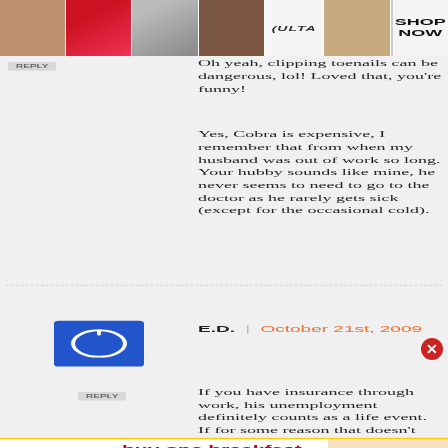[Figure (other): ULTA beauty advertisement banner with makeup images and SHOP NOW text]
Oh yeah, clipping toenails can be dangerous, lol! Loved that, you're funny!
Yes, Cobra is expensive, I remember that from when my husband was out of work so long. Your hubby sounds like mine, he never seems to need to go to the doctor as he rarely gets sick (except for the occasional cold).
E.D.  |  October 21st, 2009
If you have insurance through work, his unemployment definitely counts as a life event. If for some reason that doesn't
[Figure (other): McDonald's advertisement: buy one breakfast sandwich, get one free. Only in the app.]